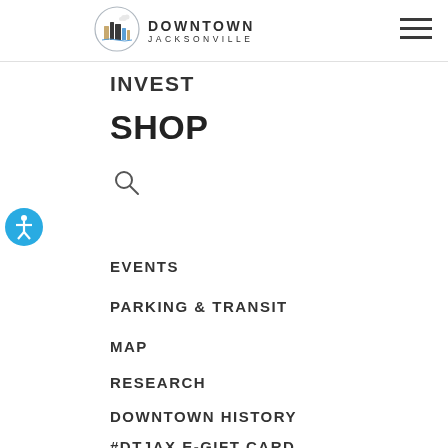DOWNTOWN JACKSONVILLE
INVEST
SHOP
[Figure (other): Search magnifying glass icon]
[Figure (other): Accessibility icon - blue circle with human figure]
EVENTS
PARKING & TRANSIT
MAP
RESEARCH
DOWNTOWN HISTORY
#DTJAX E-GIFT CARD